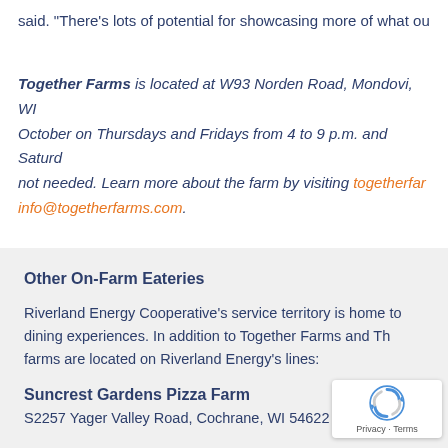said. “There’s lots of potential for showcasing more of what ou
Together Farms is located at W93 Norden Road, Mondovi, WI October on Thursdays and Fridays from 4 to 9 p.m. and Saturd not needed. Learn more about the farm by visiting togetherfar info@togetherfarms.com.
Other On-Farm Eateries
Riverland Energy Cooperative’s service territory is home to dining experiences. In addition to Together Farms and Th farms are located on Riverland Energy’s lines:
Suncrest Gardens Pizza Farm
S2257 Yager Valley Road, Cochrane, WI 54622